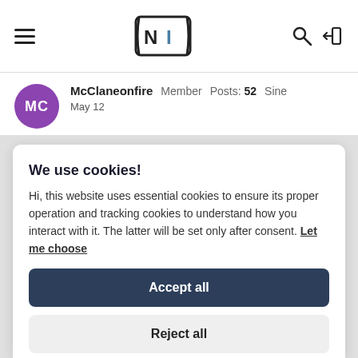NI logo header with hamburger menu, search and login icons
McClaneonfire  Member  Posts: 52  Sine
May 12
We use cookies!
Hi, this website uses essential cookies to ensure its proper operation and tracking cookies to understand how you interact with it. The latter will be set only after consent. Let me choose
Accept all
Reject all